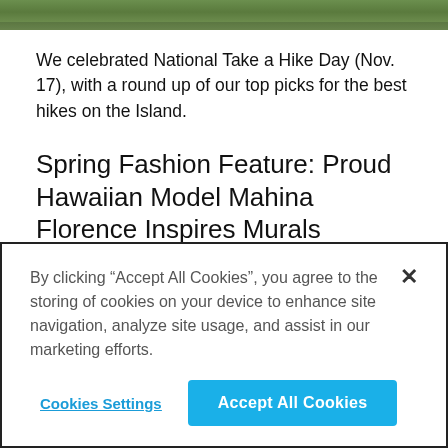[Figure (photo): Top portion of a nature/hiking photo showing green foliage and wooden elements, cropped at top]
We celebrated National Take a Hike Day (Nov. 17), with a round up of our top picks for the best hikes on the Island.
Spring Fashion Feature: Proud Hawaiian Model Mahina Florence Inspires Murals
[Figure (photo): Partial photo of a person wearing a yellow/orange hat against a light background]
By clicking “Accept All Cookies”, you agree to the storing of cookies on your device to enhance site navigation, analyze site usage, and assist in our marketing efforts.